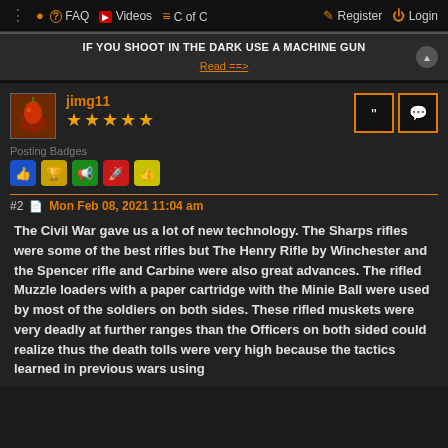FAQ  Videos  C of C  Register  Login
IF YOU SHOOT IN THE DARK USE A MACHINE GUN
Read ==>
jimg11
Posting Badges
#2  Mon Feb 08, 2021 11:04 am
The Civil War gave us a lot of new technology. The Sharps rifles were some of the best rifles but The Henry Rifle by Winchester and the Spencer rifle and Carbine were also great advances. The rifled Muzzle loaders with a paper cartridge with the Minie Ball were used by most of the soldiers on both sides. These rifled muskets were very deadly at further ranges than the Officers on both sided could realize thus the death tolls were very high because the tactics learned in previous wars using